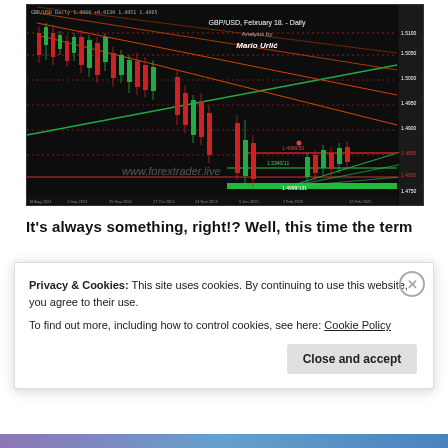[Figure (continuous-plot): GBP/USD Daily candlestick chart dated February 18, showing a downward trend with red/green candles, trendlines (red downtrend, green support), horizontal support levels labeled 1.4989/50, 1.5340/11, 1.4998/131. Watermark: www.forextrader.live. Analysis by Mario Urlić.]
It's always something, right!? Well, this time the term
Privacy & Cookies: This site uses cookies. By continuing to use this website, you agree to their use.
To find out more, including how to control cookies, see here: Cookie Policy